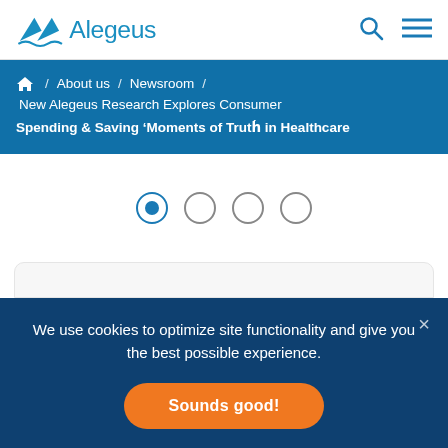Alegeus
About us / Newsroom / New Alegeus Research Explores Consumer Spending & Saving ‘Moments of Truth’ in Healthcare
[Figure (other): Carousel navigation dots: one filled/active blue dot followed by three empty circle dots]
[Figure (other): White card content area partially visible at bottom of carousel region]
We use cookies to optimize site functionality and give you the best possible experience.
Sounds good!